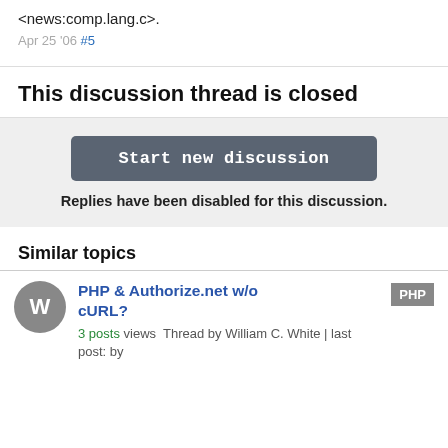<news:comp.lang.c>.
Apr 25 '06 #5
This discussion thread is closed
[Figure (other): Gray box with 'Start new discussion' button and text 'Replies have been disabled for this discussion.']
Similar topics
PHP & Authorize.net w/o cURL? 3 posts views Thread by William C. White | last post: by